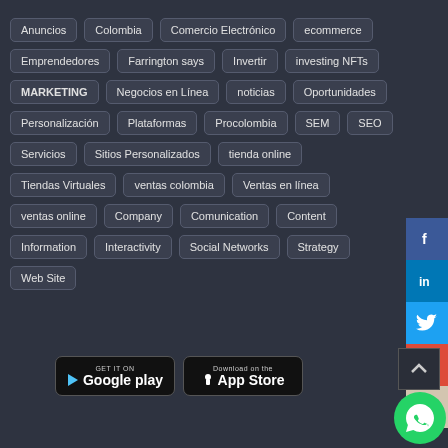Anuncios
Colombia
Comercio Electrónico
ecommerce
Emprendedores
Farrington says
Invertir
investing NFTs
MARKETING
Negocios en Línea
noticias
Oportunidades
Personalización
Plataformas
Procolombia
SEM
SEO
Servicios
Sitios Personalizados
tienda online
Tiendas Virtuales
ventas colombia
Ventas en línea
ventas online
Company
Comunication
Content
Information
Interactivity
Social Networks
Strategy
Web Site
[Figure (logo): Google Play badge]
[Figure (logo): App Store badge]
[Figure (logo): WhatsApp button]